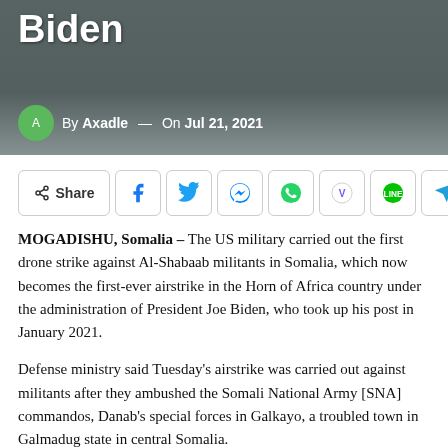[Figure (photo): Header image showing a drone or weapon against a blurred background, with text 'Biden' overlaid in white bold font and a byline 'By Axadle — On Jul 21, 2021']
[Figure (infographic): Social sharing bar with Share button and social media icons: Facebook, Twitter, Messenger, WhatsApp, Viber, Line, Telegram]
MOGADISHU, Somalia – The US military carried out the first drone strike against Al-Shabaab militants in Somalia, which now becomes the first-ever airstrike in the Horn of Africa country under the administration of President Joe Biden, who took up his post in January 2021.
Defense ministry said Tuesday's airstrike was carried out against militants after they ambushed the Somali National Army [SNA] commandos, Danab's special forces in Galkayo, a troubled town in Galmadug state in central Somalia.
Pentagon spokeswoman Cindi King also confirmed the latest